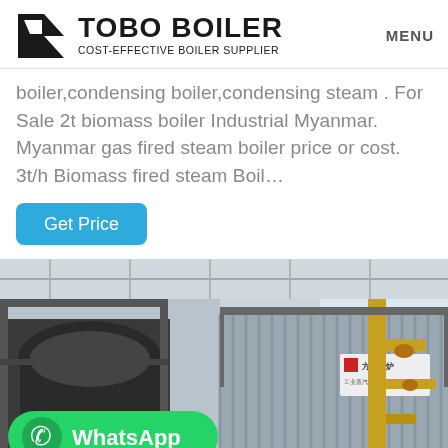TOBO BOILER COST-EFFECTIVE BOILER SUPPLIER | MENU
boiler,condensing boiler,condensing steam . For Sale 2t biomass boiler Industrial Myanmar. Myanmar gas fired steam boiler price or cost. 3t/h Biomass fired steam Boil…
Get Price
[Figure (photo): Industrial boiler equipment in a factory setting. Large cylindrical boiler on the left and a corrugated metal panel boiler unit on the right with yellow gas pipes. WhatsApp contact button overlay at bottom left.]